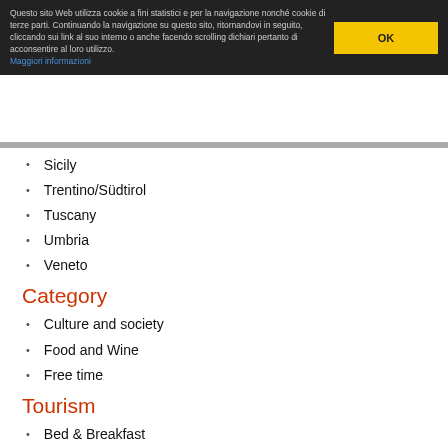Questo sito Web utilizza cookie a fini statistici e per la navigazione nonché cookie di terze parti. Continuando la navigazione su questo sito, ritornandovi in seguito, cliccando sui link al suo interno o anche facendo scrolling dichiari pertanto di acconsentire al loro utilizzo. Maggiori informazioni
Sicily
Trentino/Südtirol
Tuscany
Umbria
Veneto
Category
Culture and society
Food and Wine
Free time
Tourism
Bed & Breakfast
Events in Italy
Farm Houses
Guest Houses
Holiday Houses
Hotels
Private Villas & Rural Homes